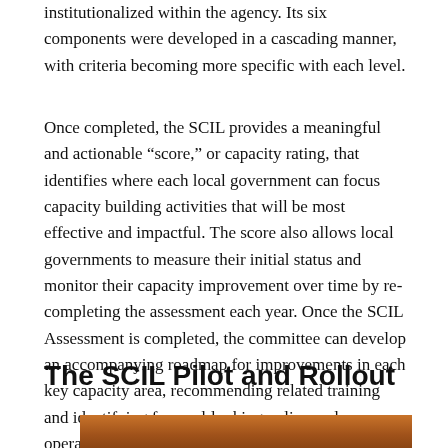institutionalized within the agency. Its six components were developed in a cascading manner, with criteria becoming more specific with each level.
Once completed, the SCIL provides a meaningful and actionable “score,” or capacity rating, that identifies where each local government can focus capacity building activities that will be most effective and impactful. The score also allows local governments to measure their initial status and monitor their capacity improvement over time by re-completing the assessment each year. Once the SCIL Assessment is completed, the committee can develop an accompanying roadmap for improvements in each key capacity area, recommending related training and identifying forward-looking policy and operational changes.
The SCIL Pilot and Rollout
[Figure (photo): Partial photo strip visible at bottom of page showing a brown/wooden background, beginning of an image related to SCIL Pilot and Rollout section.]